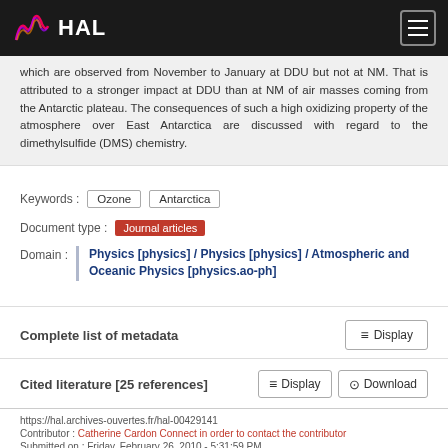HAL
which are observed from November to January at DDU but not at NM. That is attributed to a stronger impact at DDU than at NM of air masses coming from the Antarctic plateau. The consequences of such a high oxidizing property of the atmosphere over East Antarctica are discussed with regard to the dimethylsulfide (DMS) chemistry.
Keywords : Ozone  Antarctica
Document type : Journal articles
Domain : Physics [physics] / Physics [physics] / Atmospheric and Oceanic Physics [physics.ao-ph]
Complete list of metadata  Display
Cited literature [25 references]  Display  Download
https://hal.archives-ouvertes.fr/hal-00429141
Contributor : Catherine Cardon Connect in order to contact the contributor
Submitted on: Friday, February 26, 2010 - 5:31:59 PM